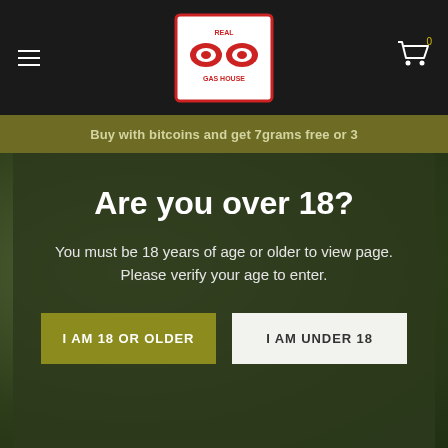Real Gas House — navigation header with logo and cart
Buy with bitcoins and get 7grams free or 3
Are you over 18?
You must be 18 years of age or older to view page. Please verify your age to enter.
I AM 18 OR OLDER
I AM UNDER 18
Order push carts in CA
Introduction
Order push carts in CA ,best thc cartridges 2021, Buy push